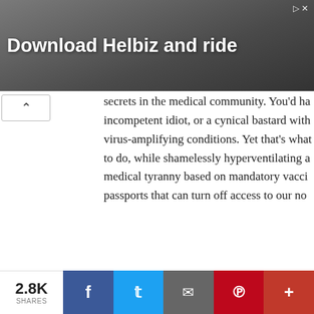[Figure (photo): Advertisement banner for Helbiz with dark background and text 'Download Helbiz and ride']
secrets in the medical community. You'd ha incompetent idiot, or a cynical bastard with virus-amplifying conditions. Yet that's what to do, while shamelessly hyperventilating a medical tyranny based on mandatory vacci passports that can turn off access to our no
Leaky Vaccines, Antibody-Dependent Enha
The experience of the 2nd wave of the 191 of evolutionary pressures are being create